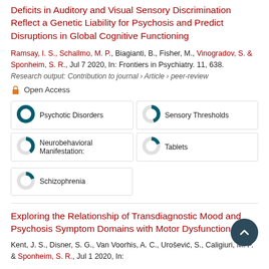Deficits in Auditory and Visual Sensory Discrimination Reflect a Genetic Liability for Psychosis and Predict Disruptions in Global Cognitive Functioning
Ramsay, I. S., Schallmo, M. P., Biagianti, B., Fisher, M., Vinogradov, S. & Sponheim, S. R., Jul 7 2020, In: Frontiers in Psychiatry. 11, 638.
Research output: Contribution to journal › Article › peer-review
Open Access
[Figure (infographic): Five keyword badge boxes arranged in a 2-column grid with donut/pie chart progress indicators: Psychotic Disorders (100%), Sensory Thresholds (~45%), Neurobehavioral Manifestations (~40%), Tablets (~20%), Schizophrenia (~20%)]
Exploring the Relationship of Transdiagnostic Mood and Psychosis Symptom Domains with Motor Dysfunction
Kent, J. S., Disner, S. G., Van Voorhis, A. C., Urošević, S., Caligiuri, M. P. & Sponheim, S. R., Jul 1 2020, In: